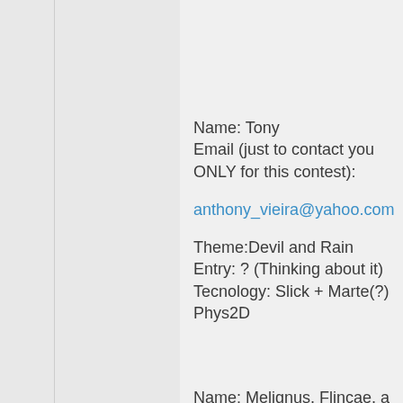Name: Tony
Email (just to contact you ONLY for this contest):
anthony_vieira@yahoo.com
Theme:Devil and Rain
Entry: ? (Thinking about it)
Tecnology: Slick + Marte(?) Phys2D
Name: Melignus, Flincae, a pangolin
Email: melignus at gmail do